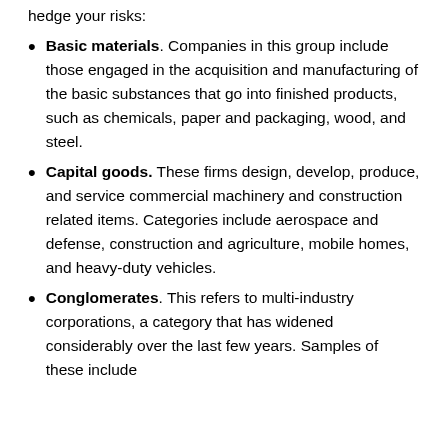hedge your risks:
Basic materials. Companies in this group include those engaged in the acquisition and manufacturing of the basic substances that go into finished products, such as chemicals, paper and packaging, wood, and steel.
Capital goods. These firms design, develop, produce, and service commercial machinery and construction related items. Categories include aerospace and defense, construction and agriculture, mobile homes, and heavy-duty vehicles.
Conglomerates. This refers to multi-industry corporations, a category that has widened considerably over the last few years. Samples of these include